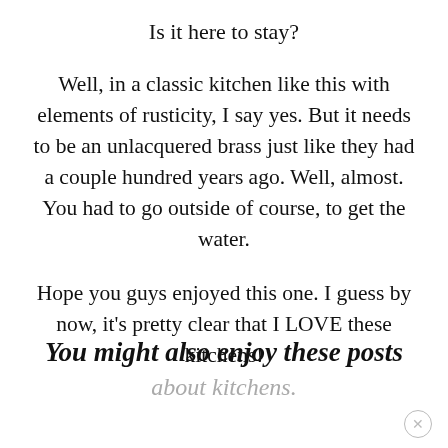Is it here to stay?
Well, in a classic kitchen like this with elements of rusticity, I say yes. But it needs to be an unlacquered brass just like they had a couple hundred years ago. Well, almost. You had to go outside of course, to get the water.
Hope you guys enjoyed this one. I guess by now, it’s pretty clear that I LOVE these kitchens!
You might also enjoy these posts about kitchens.